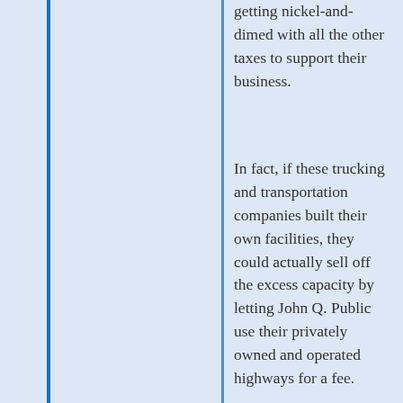getting nickel-and-dimed with all the other taxes to support their business.
In fact, if these trucking and transportation companies built their own facilities, they could actually sell off the excess capacity by letting John Q. Public use their privately owned and operated highways for a fee.
[Figure (photo): Avatar image of a purple flower/thistle]
Bernie
MARCH 28, 2010 AT 8:03 AM
For the most part the railroads were given the land that the ROW is on plus